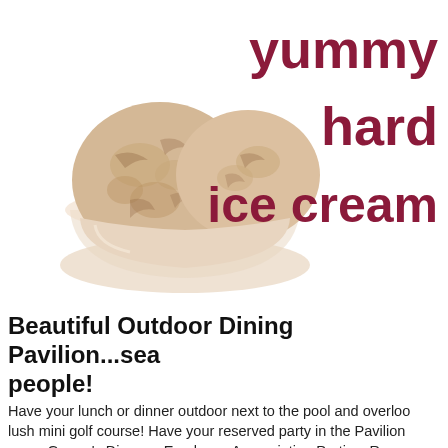[Figure (photo): A bowl of scoops of hard ice cream (caramel/vanilla with mix-ins) in a clear plastic cup, on a white background, with the text 'yummy hard ice cream' overlaid in dark red/maroon bold text to the upper right.]
Beautiful Outdoor Dining Pavilion...sea people!
Have your lunch or dinner outdoor next to the pool and overloo lush mini golf course! Have your reserved party in the Pavilion some Groom's Dinners, Employee Appreciation Parties, Reun Anniversaries, Birthdays, and Pastoral lunch meetings, all cele Pavilion!